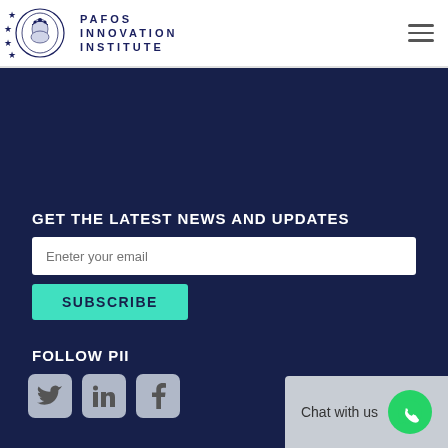PAFOS INNOVATION INSTITUTE
GET THE LATEST NEWS AND UPDATES
Eneter your email
SUBSCRIBE
FOLLOW PII
Chat with us